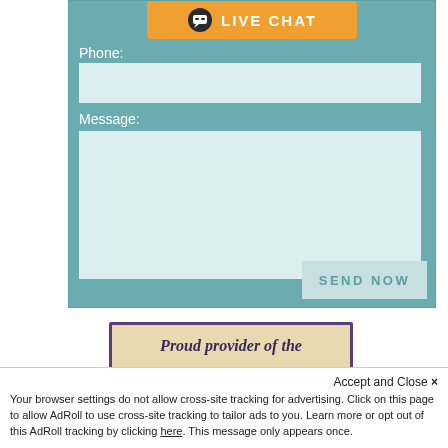[Figure (screenshot): Live chat button with orange background, chat bubble icon, and white LIVE CHAT text]
Phone:
[Figure (screenshot): Phone input text field with light blue background]
Message:
[Figure (screenshot): Message textarea with light blue background]
[Figure (screenshot): SEND NOW button with light teal background]
[Figure (screenshot): Proud provider of the... banner with purple border and beige background]
Accept and Close ×
Your browser settings do not allow cross-site tracking for advertising. Click on this page to allow AdRoll to use cross-site tracking to tailor ads to you. Learn more or opt out of this AdRoll tracking by clicking here. This message only appears once.